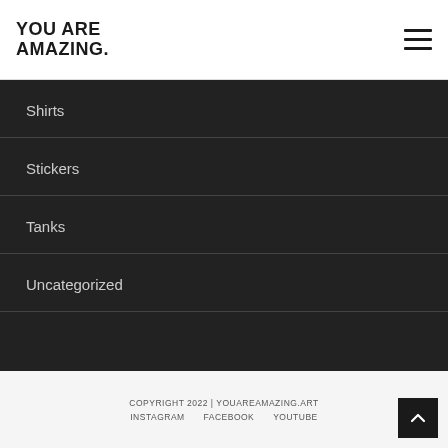YOU ARE AMAZING.
Shirts
Stickers
Tanks
Uncategorized
COPYRIGHT 2022 | YOUAREAMAZING.ART  INSTAGRAM  FACEBOOK  YOUTUBE